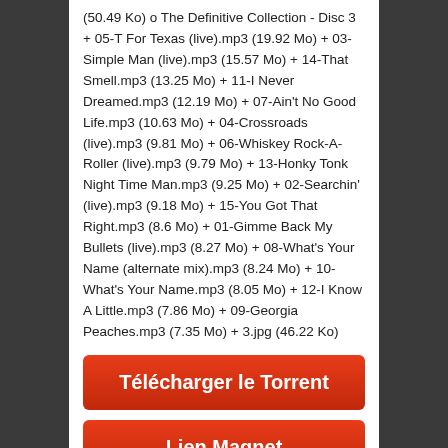(50.49 Ko) o The Definitive Collection - Disc 3 + 05-T For Texas (live).mp3 (19.92 Mo) + 03-Simple Man (live).mp3 (15.57 Mo) + 14-That Smell.mp3 (13.25 Mo) + 11-I Never Dreamed.mp3 (12.19 Mo) + 07-Ain't No Good Life.mp3 (10.63 Mo) + 04-Crossroads (live).mp3 (9.81 Mo) + 06-Whiskey Rock-A-Roller (live).mp3 (9.79 Mo) + 13-Honky Tonk Night Time Man.mp3 (9.25 Mo) + 02-Searchin' (live).mp3 (9.18 Mo) + 15-You Got That Right.mp3 (8.6 Mo) + 01-Gimme Back My Bullets (live).mp3 (8.27 Mo) + 08-What's Your Name (alternate mix).mp3 (8.24 Mo) + 10-What's Your Name.mp3 (8.05 Mo) + 12-I Know A Little.mp3 (7.86 Mo) + 09-Georgia Peaches.mp3 (7.35 Mo) + 3.jpg (46.22 Ko)
[Figure (other): Red button labeled 'Télécharger le Torrent']
[Figure (other): Red button labeled 'Lien Magnet' (partially visible at bottom)]